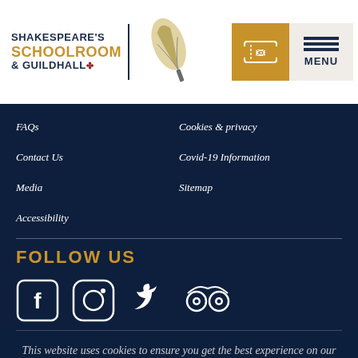Shakespeare's Schoolroom & Guildhall — Header with logo and menu
FAQs
Cookies & privacy
Contact Us
Covid-19 Information
Media
Sitemap
Accessibility
FOLLOW US
[Figure (infographic): Social media icons: Facebook, Instagram, Twitter, TripAdvisor]
This website uses cookies to ensure you get the best experience on our website. View more
CONTACT
Shakespeare's Schoolroom & Guildhall
Church Street
Stratford-upon-Avon